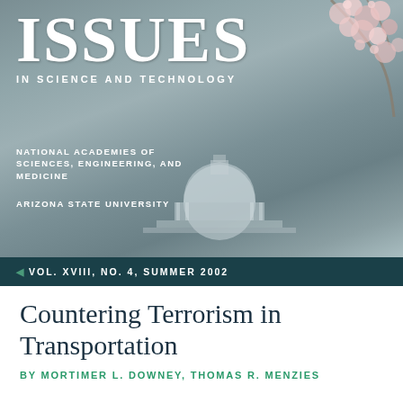[Figure (photo): Magazine cover of Issues in Science and Technology. Background shows a blurred photo of the Jefferson Memorial (Capitol dome) with cherry blossoms in the upper right. Dark teal banner with volume info. White lower section with article title and byline.]
ISSUES IN SCIENCE AND TECHNOLOGY
NATIONAL ACADEMIES OF SCIENCES, ENGINEERING, AND MEDICINE
ARIZONA STATE UNIVERSITY
VOL. XVIII, NO. 4, SUMMER 2002
Countering Terrorism in Transportation
BY MORTIMER L. DOWNEY, THOMAS R. MENZIES